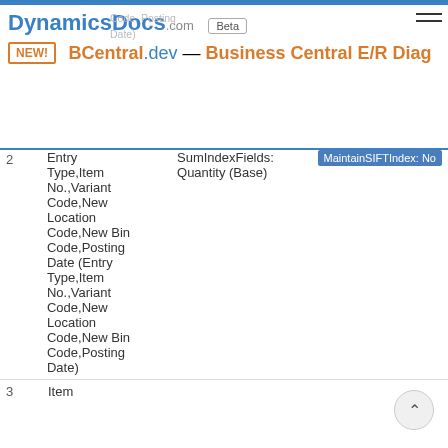DynamicsDocs.com Beta — BCentral.dev — Business Central E/R Diagram
Code,Posting Date)
| # | Key Fields | SumIndex Fields | Maintain SIFT Index |
| --- | --- | --- | --- |
| 2 | Entry Type,Item No.,Variant Code,New Location Code,New Bin Code,Posting Date (Entry Type,Item No.,Variant Code,New Location Code,New Bin Code,Posting Date) | Quantity (Base) | MaintainSIFTIndex: No |
| 3 | Item |  |  |